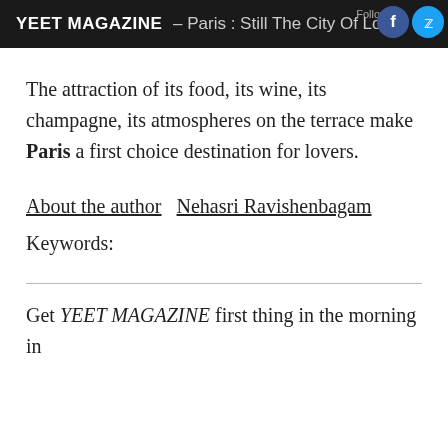YEET MAGAZINE – Paris : Still The City Of Love?
The attraction of its food, its wine, its champagne, its atmospheres on the terrace make Paris a first choice destination for lovers.
About the author   Nehasri Ravishenbagam
Keywords:
Get YEET MAGAZINE first thing in the morning in